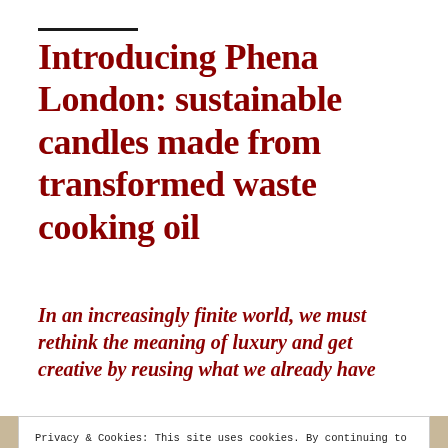Introducing Phena London: sustainable candles made from transformed waste cooking oil
In an increasingly finite world, we must rethink the meaning of luxury and get creative by reusing what we already have
Privacy & Cookies: This site uses cookies. By continuing to use this website, you agree to their use.
To find out more, including how to control cookies, see here: Cookie Policy
Close and accept